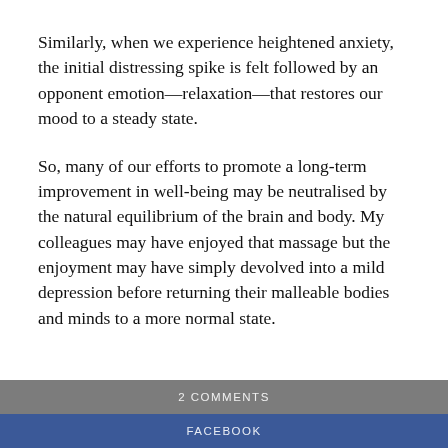Similarly, when we experience heightened anxiety, the initial distressing spike is felt followed by an opponent emotion—relaxation—that restores our mood to a steady state.
So, many of our efforts to promote a long-term improvement in well-being may be neutralised by the natural equilibrium of the brain and body. My colleagues may have enjoyed that massage but the enjoyment may have simply devolved into a mild depression before returning their malleable bodies and minds to a more normal state.
2 COMMENTS
FACEBOOK